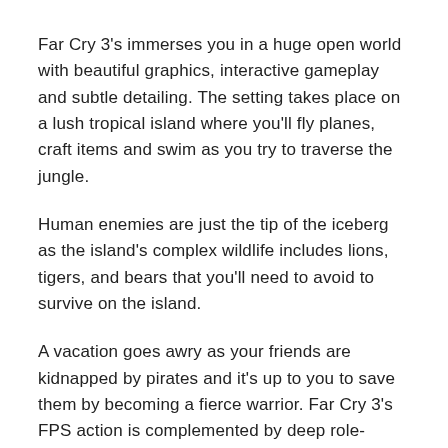Far Cry 3's immerses you in a huge open world with beautiful graphics, interactive gameplay and subtle detailing. The setting takes place on a lush tropical island where you'll fly planes, craft items and swim as you try to traverse the jungle.
Human enemies are just the tip of the iceberg as the island's complex wildlife includes lions, tigers, and bears that you'll need to avoid to survive on the island.
A vacation goes awry as your friends are kidnapped by pirates and it's up to you to save them by becoming a fierce warrior. Far Cry 3's FPS action is complemented by deep role-playing elements that let you choose how you want to play the game.